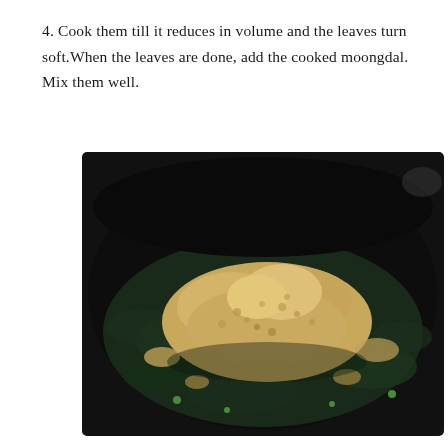4. Cook them till it reduces in volume and the leaves turn soft.When the leaves are done, add the cooked moongdal. Mix them well.
[Figure (photo): A dark cooking pan/wok containing dark cooked leafy greens (spinach or similar) with a mound of cooked moongdal (yellow lentils) placed on top, showing the mixture before being stirred together.]